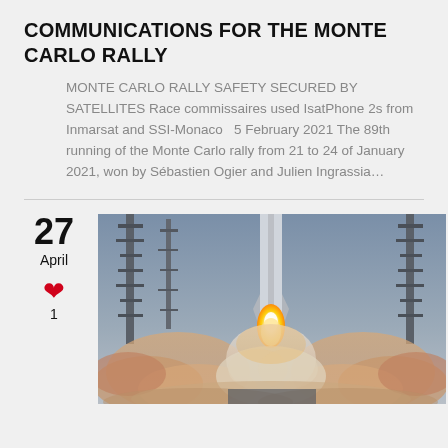COMMUNICATIONS FOR THE MONTE CARLO RALLY
MONTE CARLO RALLY SAFETY SECURED BY SATELLITES Race commissaires used IsatPhone 2s from Inmarsat and SSI-Monaco   5 February 2021 The 89th running of the Monte Carlo rally from 21 to 24 of January 2021, won by Sébastien Ogier and Julien Ingrassia…
27
April
♥
1
[Figure (photo): Rocket launch photo showing a rocket lifting off with bright engine flames and large plumes of orange and white smoke, with launch tower structures visible on both sides.]